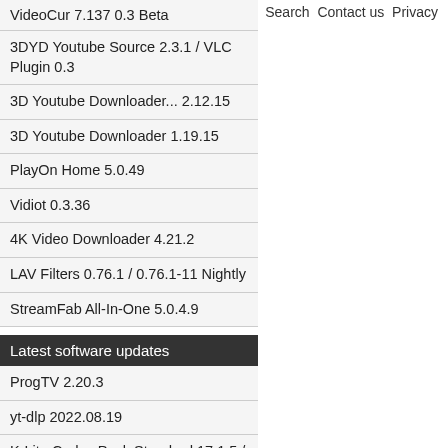VideoCur 7.137 0.3 Beta
Search  Contact us  Privacy
3DYD Youtube Source 2.3.1 / VLC Plugin 0.3
3D Youtube Downloader... 2.12.15
3D Youtube Downloader 1.19.15
PlayOn Home 5.0.49
Vidiot 0.3.36
4K Video Downloader 4.21.2
LAV Filters 0.76.1 / 0.76.1-11 Nightly
StreamFab All-In-One 5.0.4.9
Latest software updates
ProgTV 2.20.3
yt-dlp 2022.08.19
K-Lite Codec Pack Standard 17.1.5 / Update 17.1.7
OBS Studio 27.2.4 / 28.0 RC1
Plex Media Server 1.28.1.6104 / 1.28.2.6106 PlexPass